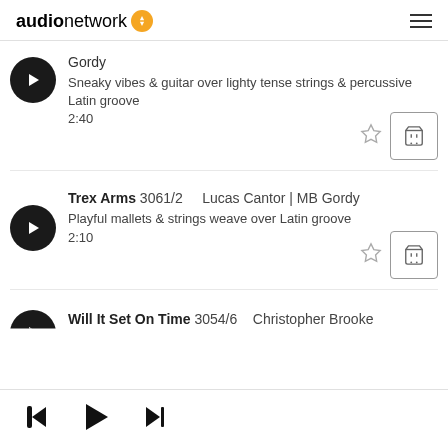audionetwork
Gordy
Sneaky vibes & guitar over lighty tense strings & percussive Latin groove
2:40
Trex Arms 3061/2   Lucas Cantor | MB Gordy
Playful mallets & strings weave over Latin groove
2:10
Will It Set On Time 3054/6   Christopher Brooke